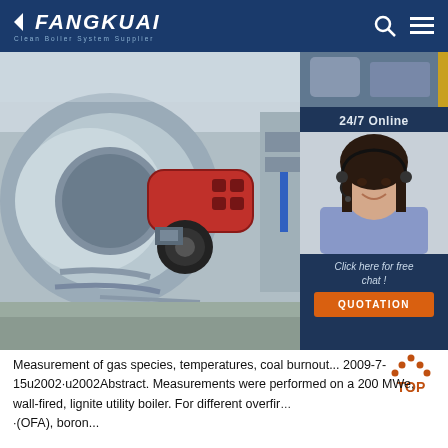FANGKUAI Clean Boiler System Supplier
[Figure (photo): Industrial boiler with red burner attachment in a utility facility. Right side panel shows a customer service agent with headset, text '24/7 Online', 'Click here for free chat!', and an orange QUOTATION button.]
[Figure (logo): TOP navigation icon with orange dots forming a triangle/arrow shape above the word TOP in orange]
Measurement of gas species, temperatures, coal burnout... 2009-7-15u2002·u2002Abstract. Measurements were performed on a 200 MWe, wall-fired, lignite utility boiler. For different overfir... (OFA), boron...